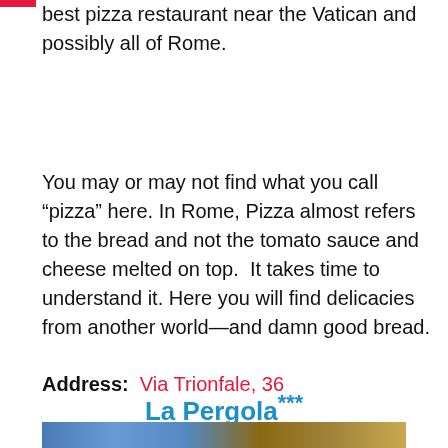best pizza restaurant near the Vatican and possibly all of Rome.
You may or may not find what you call “pizza” here. In Rome, Pizza almost refers to the bread and not the tomato sauce and cheese melted on top.  It takes time to understand it. Here you will find delicacies from another world—and damn good bread.
Address:  Via Trionfale, 36
La Pergola***
[Figure (photo): Interior photo of La Pergola restaurant showing wooden ceiling beams and decorative elements]